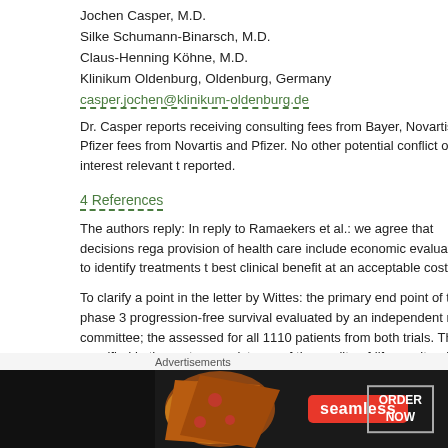Jochen Casper, M.D.
Silke Schumann-Binarsch, M.D.
Claus-Henning Köhne, M.D.
Klinikum Oldenburg, Oldenburg, Germany
casper.jochen@klinikum-oldenburg.de
Dr. Casper reports receiving consulting fees from Bayer, Novartis, and Pfizer fees from Novartis and Pfizer. No other potential conflict of interest relevant t reported.
4 References
The authors reply: In reply to Ramaekers et al.: we agree that decisions rega provision of health care include economic evaluations to identify treatments t best clinical benefit at an acceptable cost.
To clarify a point in the letter by Wittes: the primary end point of this phase 3 progression-free survival evaluated by an independent review committee; the assessed for all 1110 patients from both trials. This is specified in the protoc consistency of the quality-of-life results with the observed differences in the s for the two drugs speaks to the absence of bias in the quality-of-life outcome of patients in whom follow-up ended before progression was assessed h
Advertisements